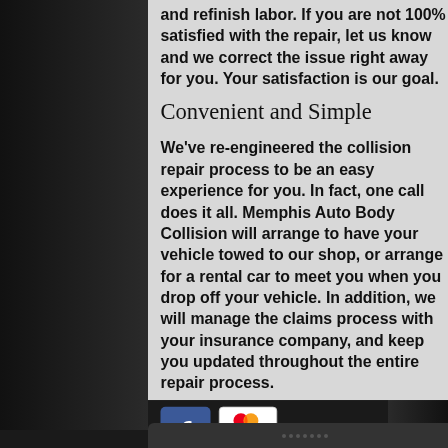and refinish labor. If you are not 100% satisfied with the repair, let us know and we correct the issue right away for you. Your satisfaction is our goal.
Convenient and Simple
We've re-engineered the collision repair process to be an easy experience for you. In fact, one call does it all. Memphis Auto Body Collision will arrange to have your vehicle towed to our shop, or arrange for a rental car to meet you when you drop off your vehicle. In addition, we will manage the claims process with your insurance company, and keep you updated throughout the entire repair process.
[Figure (logo): Facebook logo (blue square with white f) and MasterCard/Visa logo (overlapping red and yellow circles above VISA text)]